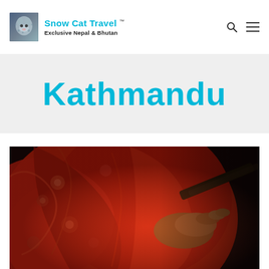Snow Cat Travel ™ — Exclusive Nepal & Bhutan
Kathmandu
[Figure (photo): Close-up photograph of a person dressed in vivid red traditional fabric with floral patterns, holding what appears to be a dark wooden or metal object, photographed in dim warm lighting.]